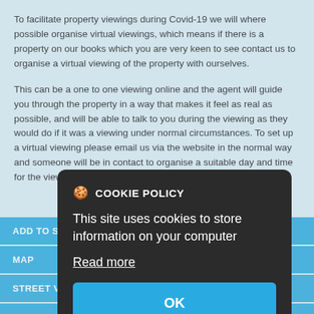To facilitate property viewings during Covid-19 we will where possible organise virtual viewings, which means if there is a property on our books which you are very keen to see contact us to organise a virtual viewing of the property with ourselves.
This can be a one to one viewing online and the agent will guide you through the property in a way that makes it feel as real as possible, and will be able to talk to you during the viewing as they would do if it was a viewing under normal circumstances. To set up a virtual viewing please email us via the website in the normal way and someone will be in contact to organise a suitable day and time for the viewing.
[Figure (screenshot): Cookie policy modal overlay with dark background, showing 'COOKIE POLICY' title with cookie icon, text 'This site uses cookies to store information on your computer', 'Read more' link, and a blue 'OK' button.]
ADD TO SH...
MAP
STREET VIE...
EMAIL A FRIEND